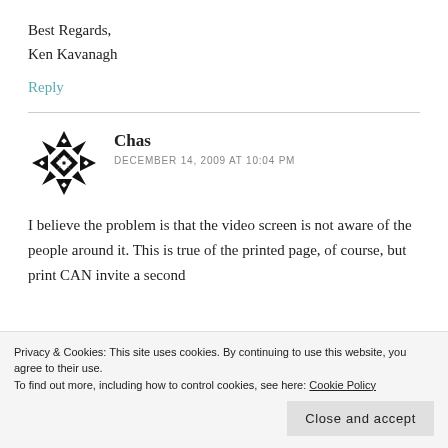Best Regards,
Ken Kavanagh
Reply
Chas
DECEMBER 14, 2009 AT 10:04 PM
I believe the problem is that the video screen is not aware of the people around it. This is true of the printed page, of course, but print CAN invite a second
Privacy & Cookies: This site uses cookies. By continuing to use this website, you agree to their use.
To find out more, including how to control cookies, see here: Cookie Policy
Close and accept
concern. If video games could back up perhaps that